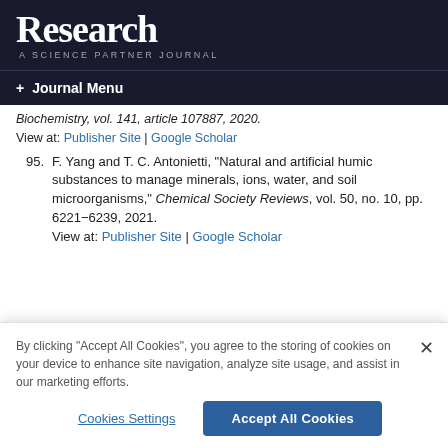Research
A SCIENCE PARTNER JOURNAL
+ Journal Menu
Biochemistry, vol. 141, article 107887, 2020.
View at: Publisher Site | Google Scholar
95. F. Yang and T. C. Antonietti, "Natural and artificial humic substances to manage minerals, ions, water, and soil microorganisms," Chemical Society Reviews, vol. 50, no. 10, pp. 6221–6239, 2021.
View at: Publisher Site | Google Scholar
By clicking "Accept All Cookies", you agree to the storing of cookies on your device to enhance site navigation, analyze site usage, and assist in our marketing efforts.
Cookies Settings | Accept All Cookies